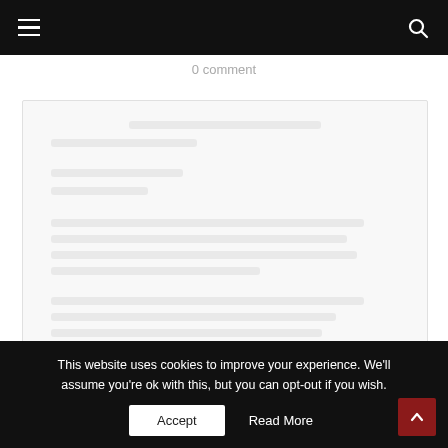Navigation bar with hamburger menu and search icon
0 comment
[Figure (screenshot): Content area with faded/blurred text lines on a light gray background, representing a form or comment section]
This website uses cookies to improve your experience. We'll assume you're ok with this, but you can opt-out if you wish.
Accept
Read More